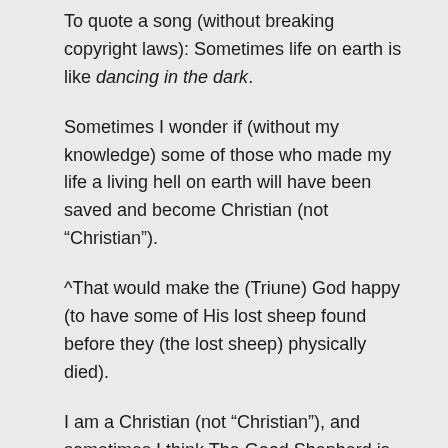To quote a song (without breaking copyright laws): Sometimes life on earth is like dancing in the dark.
Sometimes I wonder if (without my knowledge) some of those who made my life a living hell on earth will have been saved and become Christian (not “Christian”).
^That would make the (Triune) God happy (to have some of His lost sheep found before they (the lost sheep) physically died).
I am a Christian (not “Christian”), and sometimes I think The Good Shepherd is so busy rescuing His...